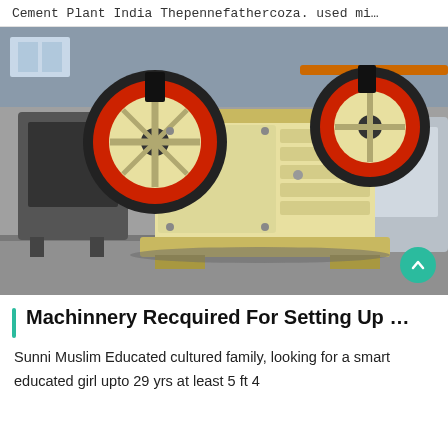Cement Plant India Thepennefathercoza. used mi…
[Figure (photo): Industrial jaw crusher machine with large red-rimmed flywheels, cream/yellow painted body, sitting on a factory floor. Industrial machinery visible in the background.]
Machinnery Recquired For Setting Up …
Sunni Muslim Educated cultured family, looking for a smart educated girl upto 29 yrs at least 5 ft 4